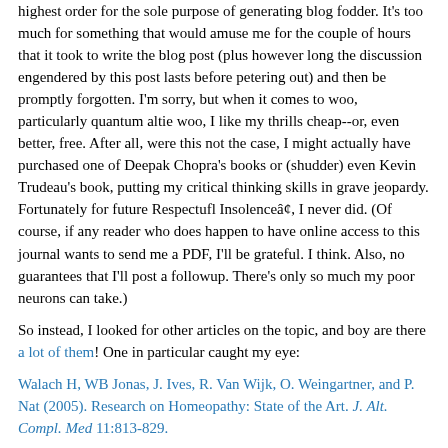highest order for the sole purpose of generating blog fodder. It's too much for something that would amuse me for the couple of hours that it took to write the blog post (plus however long the discussion engendered by this post lasts before petering out) and then be promptly forgotten. I'm sorry, but when it comes to woo, particularly quantum altie woo, I like my thrills cheap--or, even better, free. After all, were this not the case, I might actually have purchased one of Deepak Chopra's books or (shudder) even Kevin Trudeau's book, putting my critical thinking skills in grave jeopardy. Fortunately for future Respectufl Insolenceâ¢, I never did. (Of course, if any reader who does happen to have online access to this journal wants to send me a PDF, I'll be grateful. I think. Also, no guarantees that I'll post a followup. There's only so much my poor neurons can take.)
So instead, I looked for other articles on the topic, and boy are there a lot of them! One in particular caught my eye:
Walach H, WB Jonas, J. Ives, R. Van Wijk, O. Weingartner, and P. Nat (2005). Research on Homeopathy: State of the Art. J. Alt. Compl. Med 11:813-829.
It's a truly what the military (and we in the skeptic biz) call a "target-rich environment," and I might have more to say about its other content in future posts. However, for purpose of this